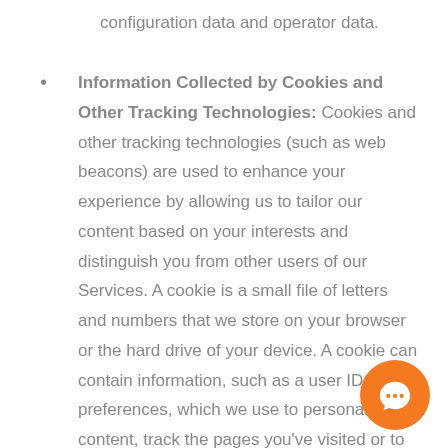configuration data and operator data.
Information Collected by Cookies and Other Tracking Technologies: Cookies and other tracking technologies (such as web beacons) are used to enhance your experience by allowing us to tailor our content based on your interests and distinguish you from other users of our Services. A cookie is a small file of letters and numbers that we store on your browser or the hard drive of your device. A cookie can contain information, such as a user ID or preferences, which we use to personalize content, track the pages you've visited or to save your password so you do not have to re-enter it each time you visit our Services. We use the following types of cookies: